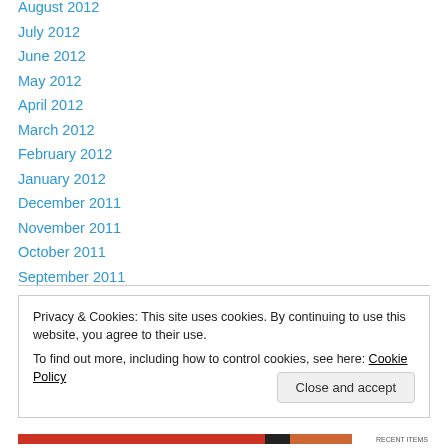August 2012
July 2012
June 2012
May 2012
April 2012
March 2012
February 2012
January 2012
December 2011
November 2011
October 2011
September 2011
Privacy & Cookies: This site uses cookies. By continuing to use this website, you agree to their use.
To find out more, including how to control cookies, see here: Cookie Policy
Close and accept